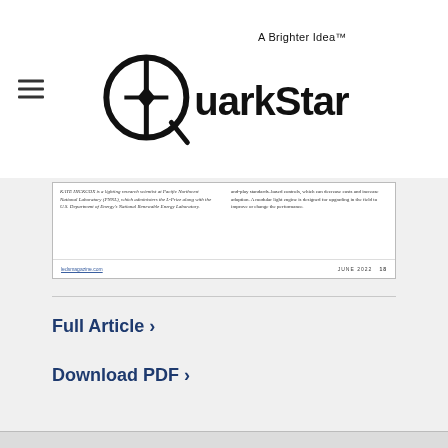QuarkStar — A Brighter Idea™
[Figure (screenshot): Scanned magazine article page preview showing two columns of small text about lighting research and LED controls, with a footer showing 'ledsmagazine.com' and 'JUNE 2022 18']
Full Article ›
Download PDF ›